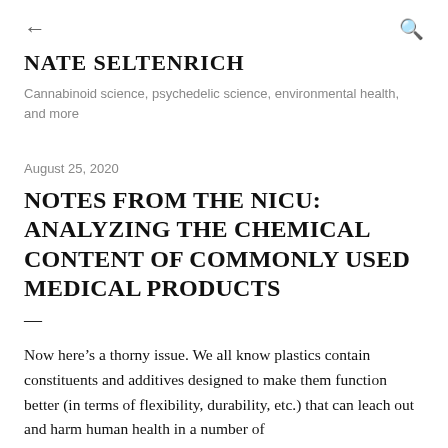← (back) Q (search)
NATE SELTENRICH
Cannabinoid science, psychedelic science, environmental health, and more
August 25, 2020
NOTES FROM THE NICU: ANALYZING THE CHEMICAL CONTENT OF COMMONLY USED MEDICAL PRODUCTS
—
Now here's a thorny issue. We all know plastics contain constituents and additives designed to make them function better (in terms of flexibility, durability, etc.) that can leach out and harm human health in a number of